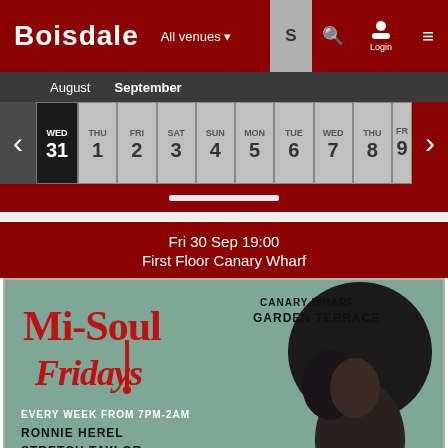BOISDALE   All venues ▾   S  🔍  Login  ≡
August   September
| WED | THU | FRI | SAT | SUN | MON | TUE | WED | THU |
| --- | --- | --- | --- | --- | --- | --- | --- | --- |
| 31 | 1 | 2 | 3 | 4 | 5 | 6 | 7 | 8 |
Fri 30 Sep 19:00
First Floor Canary Wharf
[Figure (illustration): Mi-Soul Fridays event poster with retro styling. Red script text reading 'Mi-Soul Fridays' on a teal/green background. Top right: 'CANARY WHARF GARDEN TERRACE'. Bottom left: 'EVERY WEEK FROM 7PM-2AM', 'RONNIE HEREL', 'STRETCH TAYLOR'. Right side: black and white photo of a woman with afro hairstyle.]